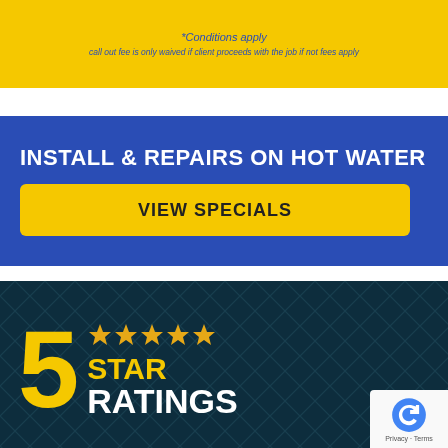*Conditions apply
call out fee is only waived if client proceeds with the job if not fees apply
INSTALL & REPAIRS ON HOT WATER
VIEW SPECIALS
[Figure (infographic): 5 STAR RATINGS banner with large yellow '5', five gold stars, yellow 'STAR' text and white 'RATINGS' text on dark teal background with diamond grid pattern]
[Figure (logo): reCAPTCHA badge with circular arrow logo and Privacy - Terms text]